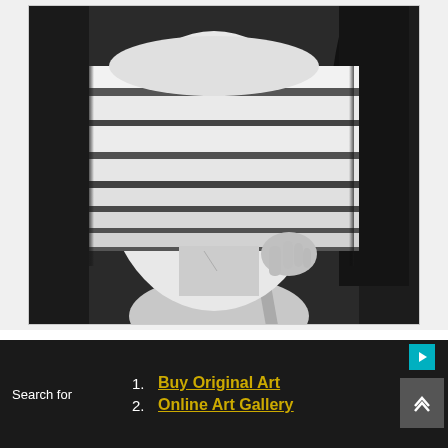[Figure (photo): Black and white artistic drawing/photo of a person's face obscured by horizontal bands of light, with their hand raised near their throat. Dark hair visible on the right side. The image has a dramatic, abstract quality.]
Lukas Moll is a young, self-taught artist from Germany, his artistic inspiration is derived from
Search for
1. Buy Original Art
2. Online Art Gallery